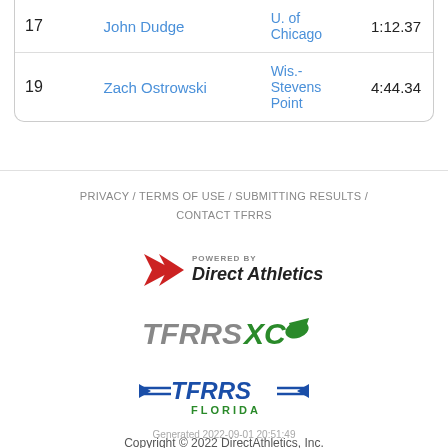| # | Name | School | Time |
| --- | --- | --- | --- |
| 17 | John Dudge | U. of Chicago | 1:12.37 |
| 19 | Zach Ostrowski | Wis.-Stevens Point | 4:44.34 |
PRIVACY / TERMS OF USE / SUBMITTING RESULTS / CONTACT TFRRS
[Figure (logo): Powered by Direct Athletics logo with red chevron]
[Figure (logo): TFRRSXC logo in gray and green with wing]
[Figure (logo): TFRRS Florida logo in blue with wings]
Copyright © 2022 DirectAthletics, Inc.
Generated 2022-09-01 20:51:49